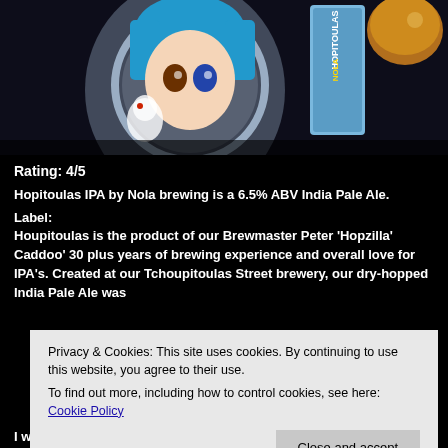[Figure (photo): Photo showing an anime character with blue hair wearing a space helmet reflected/printed on a beer can, next to what appears to be a NOLA Hopitoulas IPA beer can and a glass of amber beer]
Rating: 4/5
Hopitoulas IPA by Nola brewing is a 6.5% ABV India Pale Ale.
Label:
Houpitoulas is the product of our Brewmaster Peter 'Hopzilla' Caddoo' 30 plus years of brewing experience and overall love for IPA's. Created at our Tchoupitoulas Street brewery, our dry-hopped India Pale Ale was
I was was honored with this one and the MechaHopzilla which I will
Privacy & Cookies: This site uses cookies. By continuing to use this website, you agree to their use.
To find out more, including how to control cookies, see here: Cookie Policy